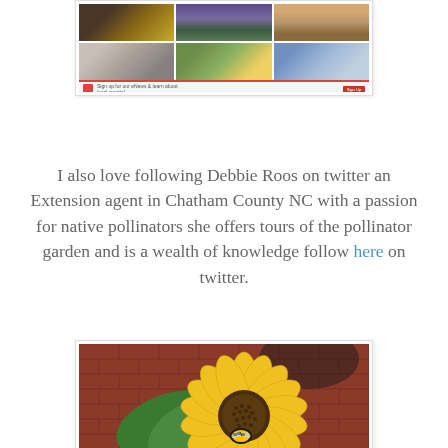[Figure (screenshot): Screenshot of a website about pollinators showing a grid of images including bees, a sign, and a hand holding something, with a red-accented navigation bar at the bottom.]
I also love following Debbie Roos on twitter an Extension agent in Chatham County NC with a passion for native pollinators she offers tours of the pollinator garden and is a wealth of knowledge follow here on twitter.
[Figure (photo): Close-up photograph of a large yellow sunflower with a bumblebee in its center, set against a red brick wall background.]